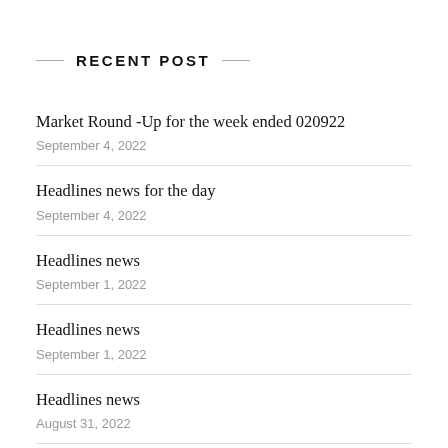RECENT POST
Market Round -Up for the week ended 020922
September 4, 2022
Headlines news for the day
September 4, 2022
Headlines news
September 1, 2022
Headlines news
September 1, 2022
Headlines news
August 31, 2022